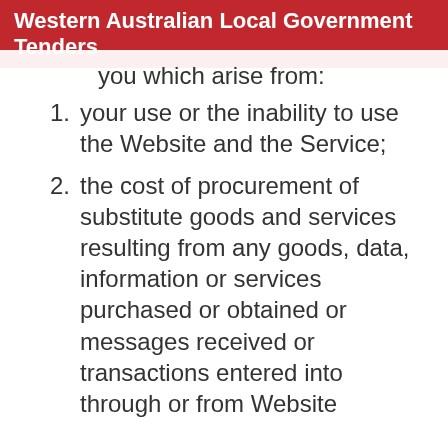Western Australian Local Government Tenders
you which arise from:
your use or the inability to use the Website and the Service;
the cost of procurement of substitute goods and services resulting from any goods, data, information or services purchased or obtained or messages received or transactions entered into through or from Website